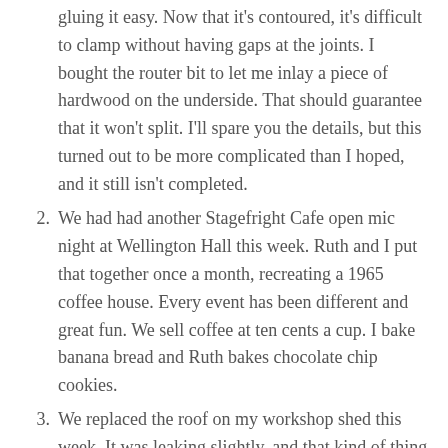originally built in the factory from nice blocks of oak, with four parallel surfaces, which made gluing it easy. Now that it's contoured, it's difficult to clamp without having gaps at the joints. I bought the router bit to let me inlay a piece of hardwood on the underside. That should guarantee that it won't split. I'll spare you the details, but this turned out to be more complicated than I hoped, and it still isn't completed.
2. We had had another Stagefright Cafe open mic night at Wellington Hall this week. Ruth and I put that together once a month, recreating a 1965 coffee house. Every event has been different and great fun. We sell coffee at ten cents a cup. I bake banana bread and Ruth bakes chocolate chip cookies.
3. We replaced the roof on my workshop shed this week. It was leaking slightly, and that kind of thing has to be stopped. So we bought corrugated steel sheets and covered it. Ruth did the work on the roof. I did the cutting and handing stuff up to her.
4. I had a rehearsal with the new Vacant Lot Band. The